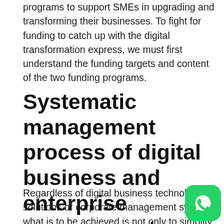programs to support SMEs in upgrading and transforming their businesses. To fight for funding to catch up with the digital transformation express, we must first understand the funding targets and content of the two funding programs.
Systematic management process of digital business and enterprise management
Regardless of digital business technology solutions or corporate management systems, what is to be achieved is not only to simplify human work with technology solutions, but more importantly, to make the entire operation process systematized and procedural to reduce errors and improve efficiency.